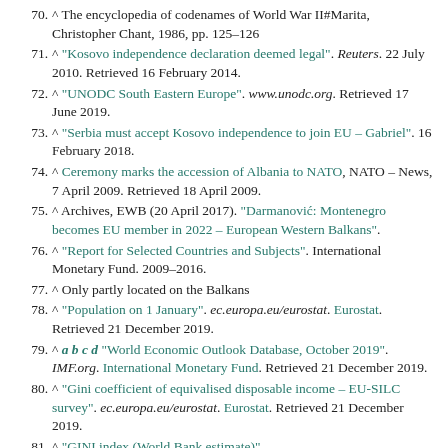70. ^ The encyclopedia of codenames of World War II#Marita, Christopher Chant, 1986, pp. 125–126
71. ^ "Kosovo independence declaration deemed legal". Reuters. 22 July 2010. Retrieved 16 February 2014.
72. ^ "UNODC South Eastern Europe". www.unodc.org. Retrieved 17 June 2019.
73. ^ "Serbia must accept Kosovo independence to join EU – Gabriel". 16 February 2018.
74. ^ Ceremony marks the accession of Albania to NATO, NATO – News, 7 April 2009. Retrieved 18 April 2009.
75. ^ Archives, EWB (20 April 2017). "Darmanović: Montenegro becomes EU member in 2022 – European Western Balkans".
76. ^ "Report for Selected Countries and Subjects". International Monetary Fund. 2009–2016.
77. ^ Only partly located on the Balkans
78. ^ "Population on 1 January". ec.europa.eu/eurostat. Eurostat. Retrieved 21 December 2019.
79. ^ a b c d "World Economic Outlook Database, October 2019". IMF.org. International Monetary Fund. Retrieved 21 December 2019.
80. ^ "Gini coefficient of equivalised disposable income – EU-SILC survey". ec.europa.eu/eurostat. Eurostat. Retrieved 21 December 2019.
81. ^ "GINI index (World Bank estimate)".